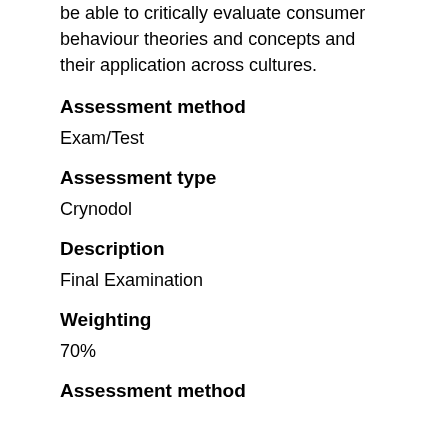be able to critically evaluate consumer behaviour theories and concepts and their application across cultures.
Assessment method
Exam/Test
Assessment type
Crynodol
Description
Final Examination
Weighting
70%
Assessment method